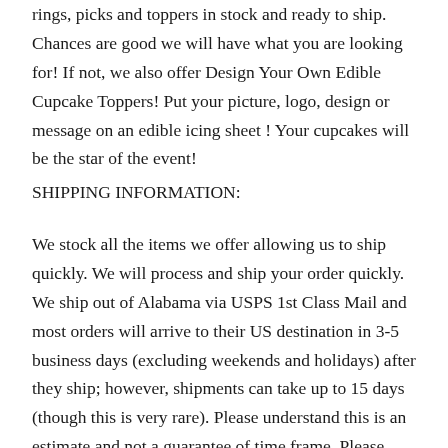rings, picks and toppers in stock and ready to ship. Chances are good we will have what you are looking for! If not, we also offer Design Your Own Edible Cupcake Toppers! Put your picture, logo, design or message on an edible icing sheet ! Your cupcakes will be the star of the event!
SHIPPING INFORMATION:
We stock all the items we offer allowing us to ship quickly. We will process and ship your order quickly. We ship out of Alabama via USPS 1st Class Mail and most orders will arrive to their US destination in 3-5 business days (excluding weekends and holidays) after they ship; however, shipments can take up to 15 days (though this is very rare). Please understand this is an estimate and not a guarantee of time frame. Please note that we are not responsible for any post office delays. We will do